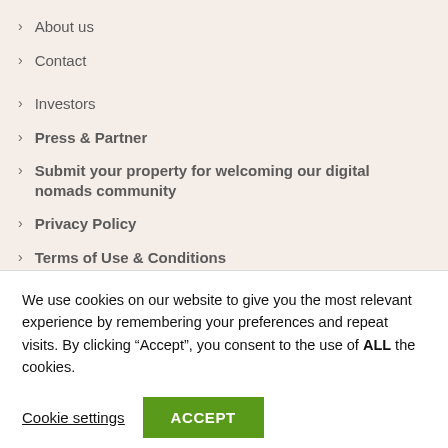About us
Contact
Investors
Press & Partner
Submit your property for welcoming our digital nomads community
Privacy Policy
Terms of Use & Conditions
We use cookies on our website to give you the most relevant experience by remembering your preferences and repeat visits. By clicking “Accept”, you consent to the use of ALL the cookies.
Cookie settings  ACCEPT